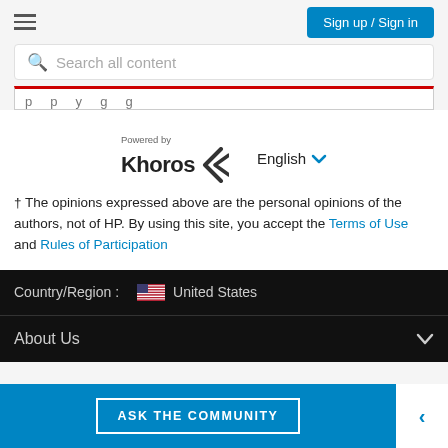Sign up / Sign in
Search all content
† The opinions expressed above are the personal opinions of the authors, not of HP. By using this site, you accept the Terms of Use and Rules of Participation
[Figure (logo): Powered by Khoros logo with angular bracket mark]
English
Country/Region : United States
About Us
ASK THE COMMUNITY